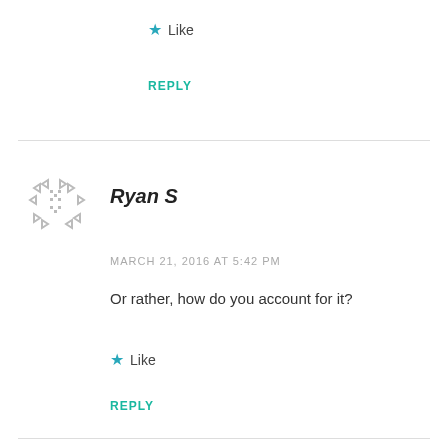Like
REPLY
[Figure (illustration): Avatar placeholder with scattered arrow/chevron shapes in light gray, forming a decorative icon for user Ryan S]
Ryan S
MARCH 21, 2016 AT 5:42 PM
Or rather, how do you account for it?
Like
REPLY